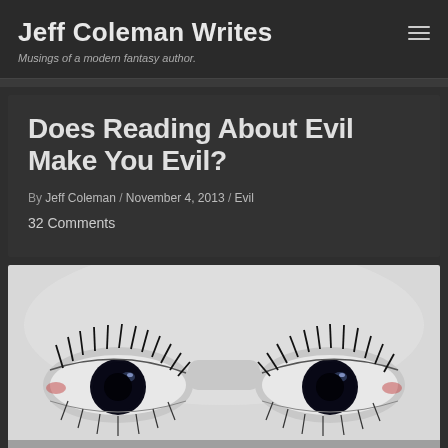Jeff Coleman Writes — Musings of a modern fantasy author.
Does Reading About Evil Make You Evil?
By Jeff Coleman / November 4, 2013 / Evil
32 Comments
[Figure (photo): Close-up photo of a face showing two eyes with large dark black irises and dramatic eyelashes, with slight reddish corners, against a pale white skin background — stylized to look supernatural or evil.]